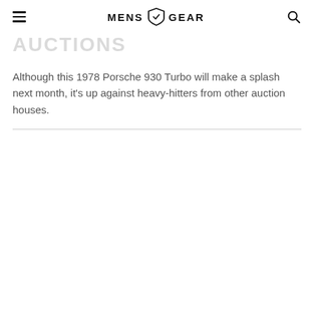MENS GEAR
AUCTIONS
Although this 1978 Porsche 930 Turbo will make a splash next month, it's up against heavy-hitters from other auction houses.